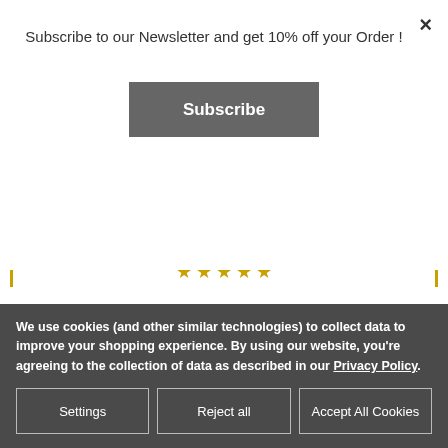Subscribe to our Newsletter and get 10% off your Order !
Subscribe
[Figure (photo): Stone wall with green ivy leaves on the left side, used as product background image]
Split Swirly Monogram (T30)
$49.99
We use cookies (and other similar technologies) to collect data to improve your shopping experience. By using our website, you're agreeing to the collection of data as described in our Privacy Policy.
Settings
Reject all
Accept All Cookies